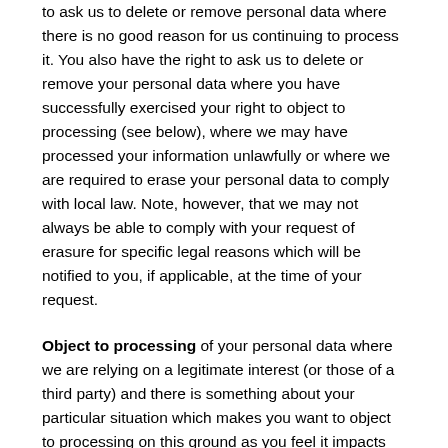to ask us to delete or remove personal data where there is no good reason for us continuing to process it. You also have the right to ask us to delete or remove your personal data where you have successfully exercised your right to object to processing (see below), where we may have processed your information unlawfully or where we are required to erase your personal data to comply with local law. Note, however, that we may not always be able to comply with your request of erasure for specific legal reasons which will be notified to you, if applicable, at the time of your request.
Object to processing of your personal data where we are relying on a legitimate interest (or those of a third party) and there is something about your particular situation which makes you want to object to processing on this ground as you feel it impacts on your fundamental rights and freedoms. You also have the right to object where we are processing your personal data for direct marketing purposes. In some cases, we may demonstrate that we